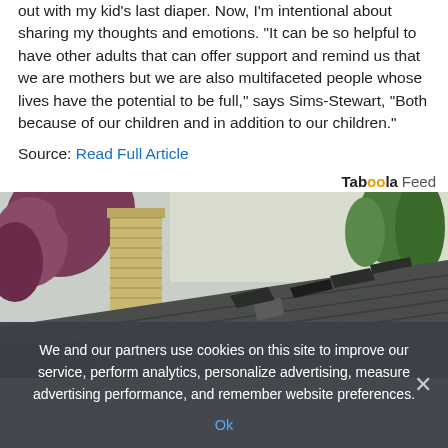out with my kid’s last diaper. Now, I’m intentional about sharing my thoughts and emotions. “It can be so helpful to have other adults that can offer support and remind us that we are mothers but we are also multifaceted people whose lives have the potential to be full,” says Sims-Stewart, “Both because of our children and in addition to our children.”
Source: Read Full Article
[Figure (photo): Damaged roof with missing and lifted shingles, with a brick chimney on the left and trees and a house visible in the background.]
We and our partners use cookies on this site to improve our service, perform analytics, personalize advertising, measure advertising performance, and remember website preferences.
Ok